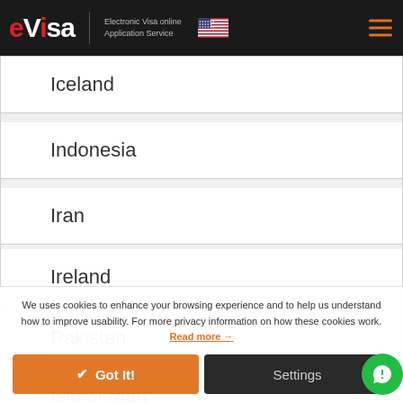eVisa Electronic Visa online Application Service
Iceland
Indonesia
Iran
Ireland
Pakistan
Isle of Man
We uses cookies to enhance your browsing experience and to help us understand how to improve usability. For more privacy information on how these cookies work. Read more →
✔ Got It!
Settings